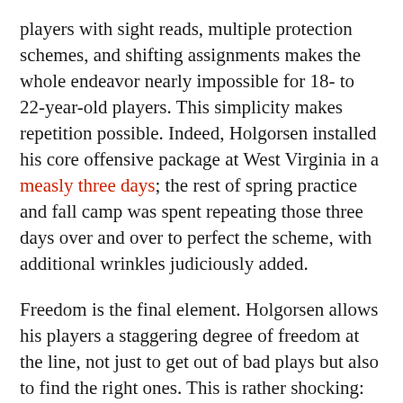players with sight reads, multiple protection schemes, and shifting assignments makes the whole endeavor nearly impossible for 18- to 22-year-old players. This simplicity makes repetition possible. Indeed, Holgorsen installed his core offensive package at West Virginia in a measly three days; the rest of spring practice and fall camp was spent repeating those three days over and over to perfect the scheme, with additional wrinkles judiciously added.
Freedom is the final element. Holgorsen allows his players a staggering degree of freedom at the line, not just to get out of bad plays but also to find the right ones. This is rather shocking: Sure, maybe Peyton Manning or Tom Brady have the green light to make these calls, but college kids? In Holgorsen's offense, however, it makes sense. The quarterback must succeed for the team to go, and he knows his own strengths better than anyone, including the coach.